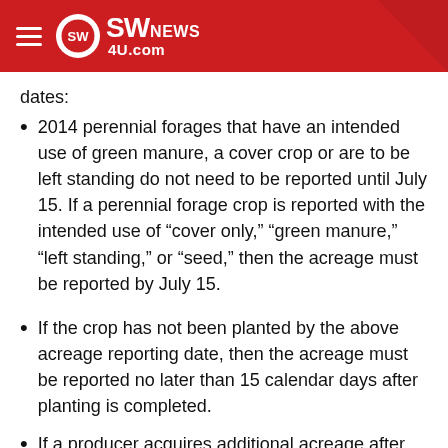SW NEWS 4U.com
dates:
2014 perennial forages that have an intended use of green manure, a cover crop or are to be left standing do not need to be reported until July 15. If a perennial forage crop is reported with the intended use of “cover only,” “green manure,” “left standing,” or “seed,” then the acreage must be reported by July 15.
If the crop has not been planted by the above acreage reporting date, then the acreage must be reported no later than 15 calendar days after planting is completed.
If a producer acquires additional acreage after the above acreage reporting date, then the acreage must be reported no later than 30 calendar days after purchase or acquiring the